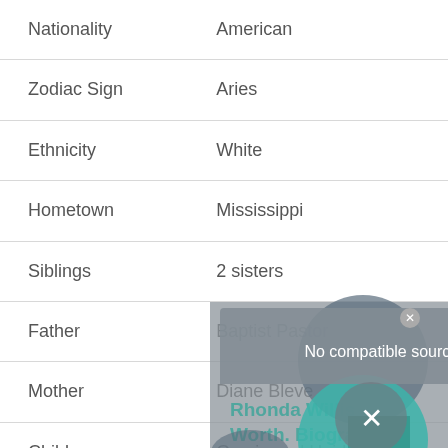| Field | Value |
| --- | --- |
| Nationality | American |
| Zodiac Sign | Aries |
| Ethnicity | White |
| Hometown | Mississippi |
| Siblings | 2 sisters |
| Father | Baptist Pastor |
| Mother | Diane Bleve |
| Children | Gracie and Heidi |
| Hair Color | Brown |
No compatible source was found for this media.
Rhonda Willis Worth. Biography Career